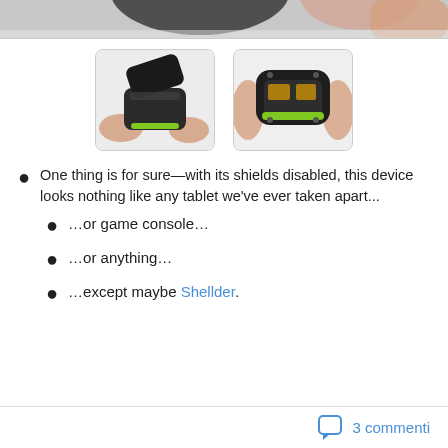[Figure (photo): Top cropped photo of a gaming device being held/disassembled]
[Figure (photo): Thumbnail: hands opening a gaming controller (NVIDIA Shield) revealing inside]
[Figure (photo): Thumbnail: disassembled gaming controller showing internal components with green accents]
One thing is for sure—with its shields disabled, this device looks nothing like any tablet we've ever taken apart...
...or game console...
...or anything...
...except maybe Shellder.
3 commenti